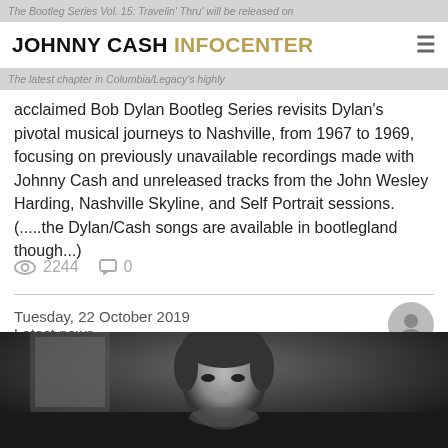JOHNNY CASH INFOCENTER
The Bootleg Series Vol. 15: Travelin' Thru' will be released on
The latest chapter in Columbia/Legacy's highly acclaimed Bob Dylan Bootleg Series revisits Dylan's pivotal musical journeys to Nashville, from 1967 to 1969, focusing on previously unavailable recordings made with Johnny Cash and unreleased tracks from the John Wesley Harding, Nashville Skyline, and Self Portrait sessions. (.....the Dylan/Cash songs are available in bootlegland though...)
2244   0
Tuesday, 22 October 2019
Latest news
[Figure (photo): Black and white photograph of Johnny Cash looking contemplative, wearing dark clothing, seated]